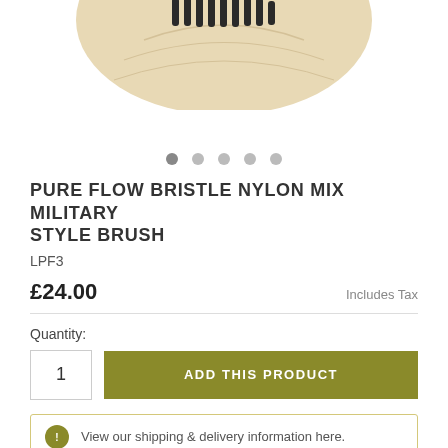[Figure (photo): Bottom half of a round wooden military style brush with black bristles, shown from above on white background]
PURE FLOW BRISTLE NYLON MIX MILITARY STYLE BRUSH
LPF3
£24.00  Includes Tax
Quantity:
ADD THIS PRODUCT
View our shipping & delivery information here.